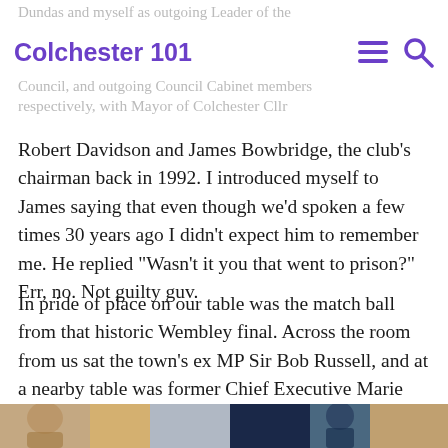Colchester 101
Dundas and myself as outgoing Leader of the Council, and outgoing Council Cabinet members respectively, with Mayor of Colchester Cllr
Robert Davidson and James Bowbridge, the club’s chairman back in 1992. I introduced myself to James saying that even though we’d spoken a few times 30 years ago I didn’t expect him to remember me. He replied “Wasn’t it you that went to prison?” Err, no. Not guilty guv.
In pride of place on our table was the match ball from that historic Wembley final. Across the room from us sat the town’s ex MP Sir Bob Russell, and at a nearby table was former Chief Executive Marie Partner, just a couple of the many familiar faces that night, some of whom I hadn’t seen in many years.
[Figure (photo): Partial photo of people at an event, cropped at bottom of page]